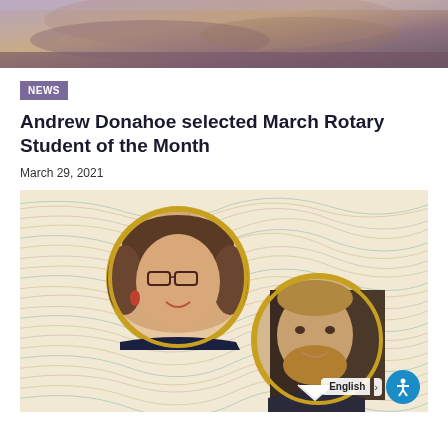[Figure (photo): Partial top photo showing two people, cropped at the top of the page]
NEWS
Andrew Donahoe selected March Rotary Student of the Month
March 29, 2021
[Figure (photo): Two circular portrait photos of people (a woman with glasses and curly hair, and a man with a beard) set against a decorative wavy-line background in cream, teal, and brown colors, with gold circle borders]